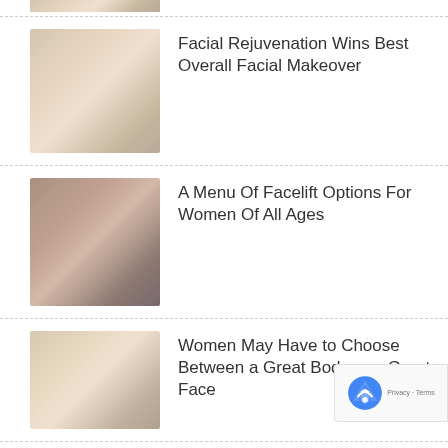[Figure (photo): Partial view of a woman touching her face, cropped at top of page]
Facial Rejuvenation Wins Best Overall Facial Makeover
[Figure (photo): Woman with dark hair touching her face and smiling]
A Menu Of Facelift Options For Women Of All Ages
[Figure (photo): Woman with blonde curly hair resting chin on hands]
Women May Have to Choose Between a Great Body or a Great Face
[Figure (photo): Partial photo of a woman, cropped at bottom of page]
The Beverly Hills Face Lift Is